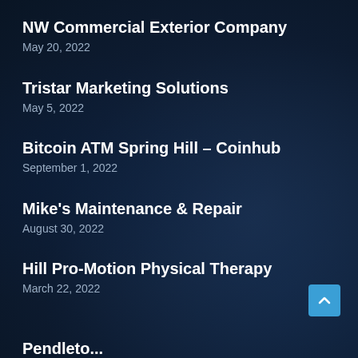NW Commercial Exterior Company
May 20, 2022
Tristar Marketing Solutions
May 5, 2022
Bitcoin ATM Spring Hill – Coinhub
September 1, 2022
Mike's Maintenance & Repair
August 30, 2022
Hill Pro-Motion Physical Therapy
March 22, 2022
Pendleton Printing...